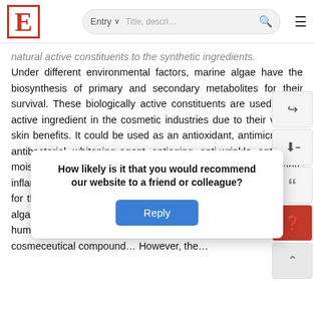E [logo] | Entry ˅ | Title, descri... [search] [menu]
natural active constituents to the synthetic ingredients. Under different environmental factors, marine algae have the biosynthesis of primary and secondary metabolites for their survival. These biologically active constituents are used as an active ingredient in the cosmetic industries due to their various skin benefits. It could be used as an antioxidant, antimicrobials, antibacterial, whitening agent, antiaging, anti-wrinkle, anti-acne, moisturizing, UV protection, deodorizing, anti-allergic, anti-inflammatory, sensory enhancer, viscosifying, stabilizer, and also for thickening in cosmetic industries. Sustainable use of marine algae and marine-algae-based molecules is crucial for humankind's environmental and global industries and cosmeceutical compound... However, the...